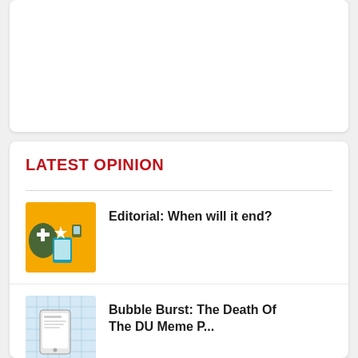[Figure (other): White card placeholder area at top of page]
LATEST OPINION
[Figure (illustration): Editorial illustration: gold/yellow background with medical cross and phone screen graphic]
Editorial: When will it end?
[Figure (illustration): Illustration with light blue grid/graph paper background and phone device graphic]
Bubble Burst: The Death Of The DU Meme P...